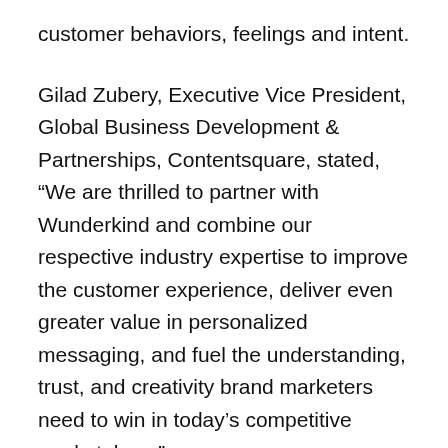customer behaviors, feelings and intent.
Gilad Zubery, Executive Vice President, Global Business Development & Partnerships, Contentsquare, stated, “We are thrilled to partner with Wunderkind and combine our respective industry expertise to improve the customer experience, deliver even greater value in personalized messaging, and fuel the understanding, trust, and creativity brand marketers need to win in today’s competitive marketplace.”
Recognizing Resolu...